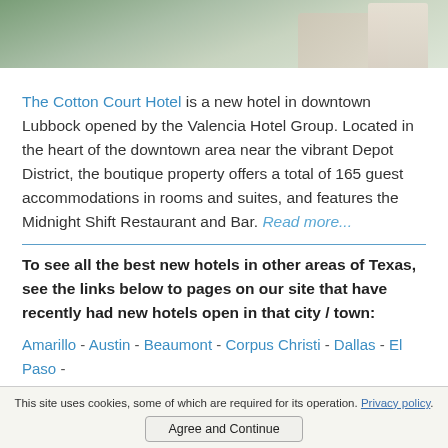[Figure (photo): Partial photo of a person near water or greenery, cropped at top of page]
The Cotton Court Hotel is a new hotel in downtown Lubbock opened by the Valencia Hotel Group. Located in the heart of the downtown area near the vibrant Depot District, the boutique property offers a total of 165 guest accommodations in rooms and suites, and features the Midnight Shift Restaurant and Bar. Read more...
To see all the best new hotels in other areas of Texas, see the links below to pages on our site that have recently had new hotels open in that city / town:
Amarillo - Austin - Beaumont - Corpus Christi - Dallas - El Paso - Fort Worth - Grapevine - Harlingen - Houston - Lubbock - Midland -
This site uses cookies, some of which are required for its operation. Privacy policy.